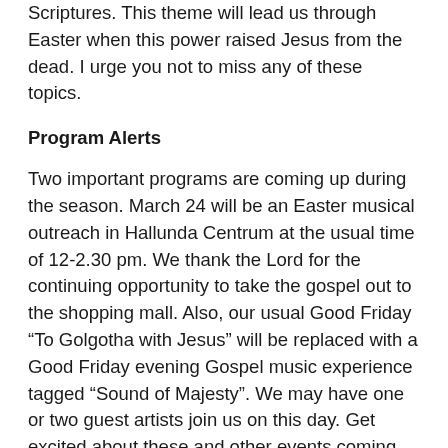Scriptures. This theme will lead us through Easter when this power raised Jesus from the dead. I urge you not to miss any of these topics.
Program Alerts
Two important programs are coming up during the season. March 24 will be an Easter musical outreach in Hallunda Centrum at the usual time of 12-2.30 pm. We thank the Lord for the continuing opportunity to take the gospel out to the shopping mall. Also, our usual Good Friday “To Golgotha with Jesus” will be replaced with a Good Friday evening Gospel music experience tagged “Sound of Majesty”. We may have one or two guest artists join us on this day. Get excited about these and other events coming up in the coming weeks and months.
The final program alert worth noting is that we shall be marking our 10th anniversary this year in grand style during the period 1st-7th October. Some of you will be